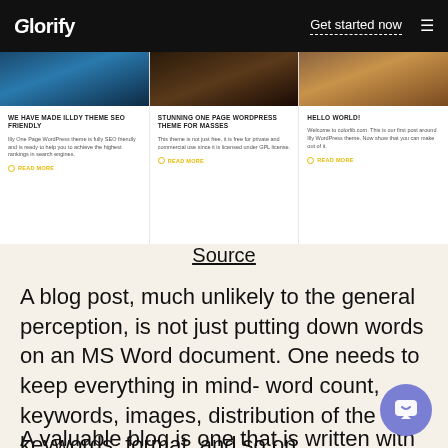Glorify | Get started now
[Figure (screenshot): Three blog post cards with images at top and titles: WE HAVE MADE ILLDY THEME SEO FRIENDLY, STUNNING ONE PAGE WORDPRESS THEME FOR MASSES, HELLO WORLD!]
Source
A blog post, much unlikely to the general perception, is not just putting down words on an MS Word document. One needs to keep everything in mind- word count, keywords, images, distribution of the keywords, format, and so on.
A valuable blog is one that is written with the right